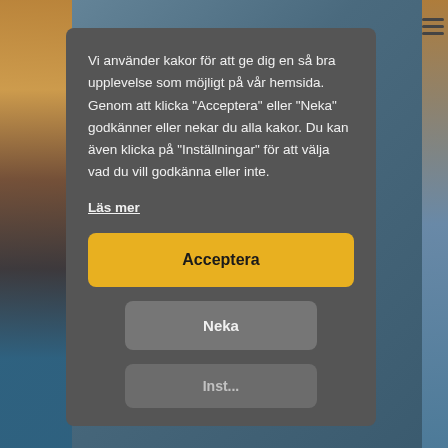[Figure (screenshot): Background website with a colorful image partially visible behind a cookie consent modal dialog. A hamburger menu icon is visible top right.]
Vi använder kakor för att ge dig en så bra upplevelse som möjligt på vår hemsida. Genom att klicka "Acceptera" eller "Neka" godkänner eller nekar du alla kakor. Du kan även klicka på "Inställningar" för att välja vad du vill godkänna eller inte.
Läs mer
Acceptera
Neka
Inst...